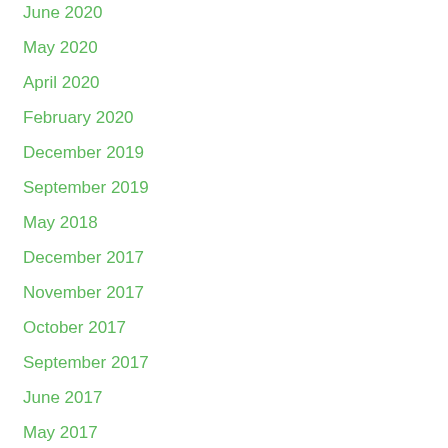June 2020
May 2020
April 2020
February 2020
December 2019
September 2019
May 2018
December 2017
November 2017
October 2017
September 2017
June 2017
May 2017
April 2017